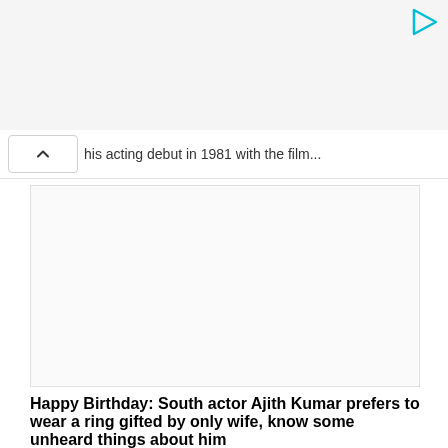[Figure (other): Top gray bar area, likely an advertisement or header banner with a cyan play/forward icon in the top right corner]
his acting debut in 1981 with the film...
[Figure (photo): Blank/white image placeholder box]
Happy Birthday: South actor Ajith Kumar prefers to wear a ring gifted by only wife, know some unheard things about him